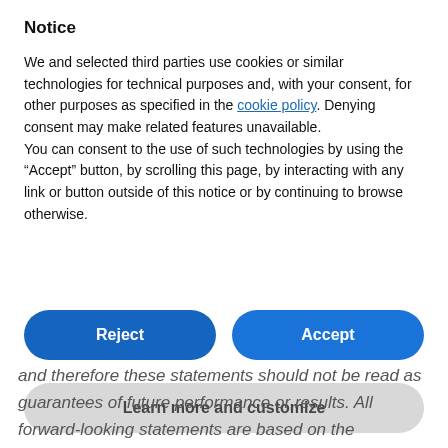Notice
We and selected third parties use cookies or similar technologies for technical purposes and, with your consent, for other purposes as specified in the cookie policy. Denying consent may make related features unavailable.
You can consent to the use of such technologies by using the “Accept” button, by scrolling this page, by interacting with any link or button outside of this notice or by continuing to browse otherwise.
Reject
Accept
Learn more and customize
and therefore these statements should not be read as guarantees of future performance or results. All forward-looking statements are based on the